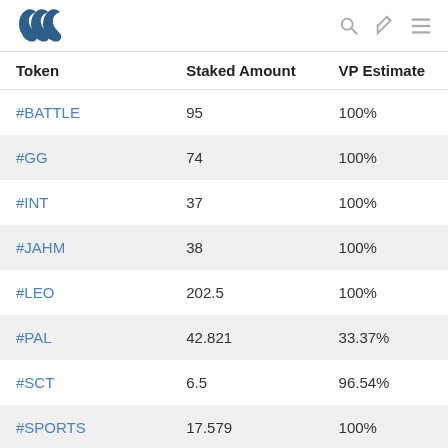Steem logo, search, edit, and menu icons
| Token | Staked Amount | VP Estimate |
| --- | --- | --- |
| #BATTLE | 95 | 100% |
| #GG | 74 | 100% |
| #INT | 37 | 100% |
| #JAHM | 38 | 100% |
| #LEO | 202.5 | 100% |
| #PAL | 42.821 | 33.37% |
| #SCT | 6.5 | 96.54% |
| #SPORTS | 17.579 | 100% |